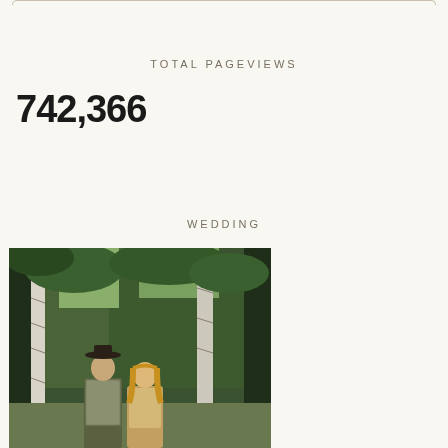TOTAL PAGEVIEWS
742,366
WEDDING
[Figure (photo): Outdoor wedding photo of a couple standing among aspen and pine trees. A man wearing a cowboy hat and plaid shirt stands next to a woman with long blonde hair. The forest setting features white-barked aspen trees and dense green pine trees in the background.]